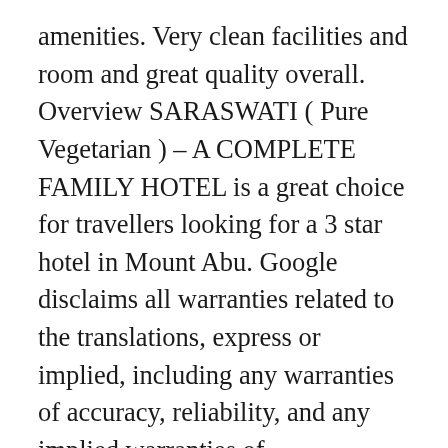amenities. Very clean facilities and room and great quality overall. Overview SARASWATI ( Pure Vegetarian ) – A COMPLETE FAMILY HOTEL is a great choice for travellers looking for a 3 star hotel in Mount Abu. Google disclaims all warranties related to the translations, express or implied, including any warranties of accuracy, reliability, and any implied warranties of merchantability, fitness for a particular purpose, and non-infringement. Attached restaurant is very good. Hotel Saraswati registered under MAHA is one of the most dignified and recommended hotel in Mount Abu (Raj. Write a full question containing a minimum of 10 and a maximum of 300 characters, and don't share any personal